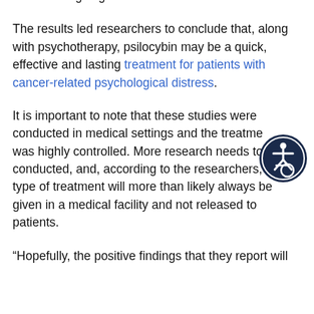while undergoing treatments.
The results led researchers to conclude that, along with psychotherapy, psilocybin may be a quick, effective and lasting treatment for patients with cancer-related psychological distress.
It is important to note that these studies were conducted in medical settings and the treatment was highly controlled. More research needs to be conducted, and, according to the researchers, this type of treatment will more than likely always be given in a medical facility and not released to patients.
“Hopefully, the positive findings that they report will